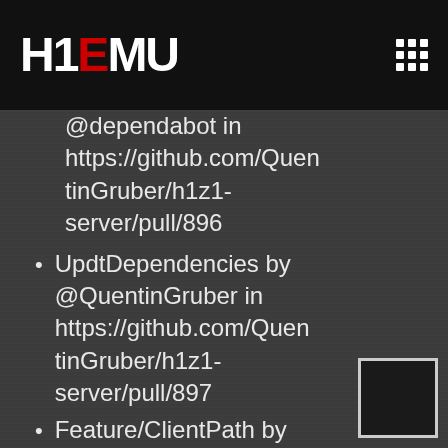H1EMU
@dependabot in https://github.com/QuentinGruber/h1z1-server/pull/896
UpdtDependencies by @QuentinGruber in https://github.com/QuentinGruber/h1z1-server/pull/897
Feature/ClientPath by @QuentinGruber in https://github.com/QuentinGruber/h1z1-server/pull/840